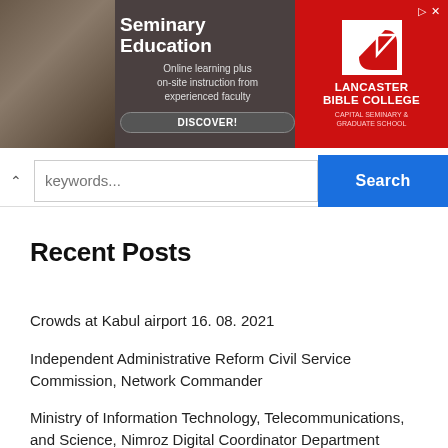[Figure (photo): Advertisement banner for Lancaster Bible College Seminary Education showing a smiling man and a red logo section with text 'Online learning plus on-site instruction from experienced faculty' and a DISCOVER! button]
Keywords... Search
Recent Posts
Crowds at Kabul airport 16. 08. 2021
Independent Administrative Reform Civil Service Commission, Network Commander
Ministry of Information Technology, Telecommunications, and Science, Nimroz Digital Coordinator Department
Independent Directorate for Local Governance, Directorate of Technical Services sector Paktika province
Ministry of Economy, Department of Economy (Secretary of Economic Committee of Kunduz Province)